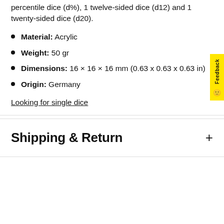percentile dice (d%), 1 twelve-sided dice (d12) and 1 twenty-sided dice (d20).
Material: Acrylic
Weight: 50 gr
Dimensions: 16 × 16 × 16 mm (0.63 x 0.63 x 0.63 in)
Origin: Germany
Looking for single dice
Shipping & Return